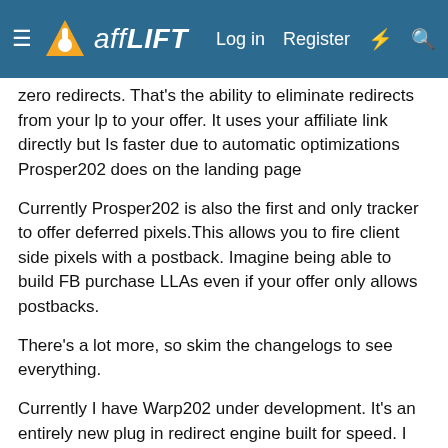affLIFT — Log in | Register
zero redirects. That's the ability to eliminate redirects from your lp to your offer. It uses your affiliate link directly but Is faster due to automatic optimizations Prosper202 does on the landing page
Currently Prosper202 is also the first and only tracker to offer deferred pixels.This allows you to fire client side pixels with a postback. Imagine being able to build FB purchase LLAs even if your offer only allows postbacks.
There's a lot more, so skim the changelogs to see everything.
Currently I have Warp202 under development. It's an entirely new plug in redirect engine built for speed. I ditched php which is old and sluggish and wrote everything with Go. It's enterprise level performance, we are talking about the ability to handle thousands of redirects in milliseconds.
So why free? Why now?